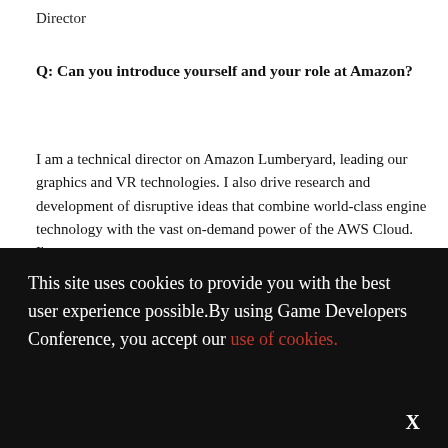Director
Q: Can you introduce yourself and your role at Amazon?
I am a technical director on Amazon Lumberyard, leading our graphics and VR technologies. I also drive research and development of disruptive ideas that combine world-class engine technology with the vast on-demand power of the AWS Cloud. I'm
This site uses cookies to provide you with the best user experience possible.By using Game Developers Conference, you accept our use of cookies.